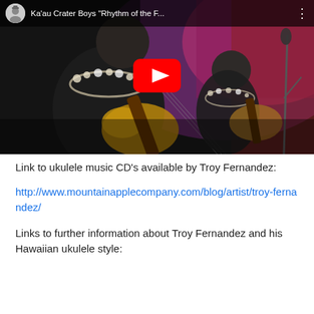[Figure (screenshot): YouTube video thumbnail showing Ka'au Crater Boys performing live. Two musicians playing acoustic guitars on stage with purple/red lighting in the background. The YouTube player interface shows a title bar with channel avatar reading "Ka'au Crater Boys 'Rhythm of the F..." and a large red play button in the center of the image.]
Link to ukulele music CD's available by Troy Fernandez:
http://www.mountainapplecompany.com/blog/artist/troy-fernandez/
Links to further information about Troy Fernandez and his Hawaiian ukulele style: